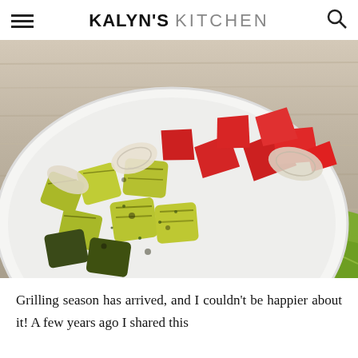KALYN'S KITCHEN
[Figure (photo): Close-up overhead photo of grilled vegetables (zucchini chunks, red bell pepper pieces, onion slices) served in a white decorative bowl on a green patterned napkin over a rustic white wood surface.]
Grilling season has arrived, and I couldn't be happier about it! A few years ago I shared this